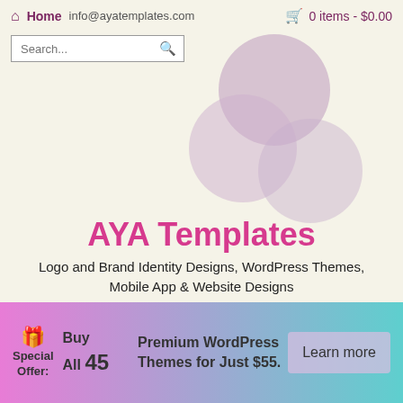Home  info@ayatemplates.com    0 items - $0.00
[Figure (illustration): Three overlapping translucent circles in shades of mauve/purple arranged as a logo graphic]
AYA Templates
Logo and Brand Identity Designs, WordPress Themes, Mobile App & Website Designs
[Figure (other): Hamburger menu icon with three horizontal bars]
Special Offer: Buy All 45 Premium WordPress Themes for Just $55.
Learn more